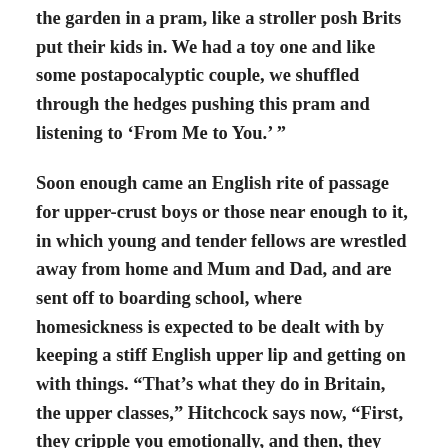the garden in a pram, like a stroller posh Brits put their kids in. We had a toy one and like some postapocalyptic couple, we shuffled through the hedges pushing this pram and listening to 'From Me to You.' "
Soon enough came an English rite of passage for upper-crust boys or those near enough to it, in which young and tender fellows are wrestled away from home and Mum and Dad, and are sent off to boarding school, where homesickness is expected to be dealt with by keeping a stiff English upper lip and getting on with things. "That's what they do in Britain, the upper classes," Hitchcock says now, "First, they cripple you emotionally, and then, they send you out to run the country. It's a neat one-two."
As it was, from a pop music perspective, there might have never been a better time to be an English lad off at boarding school, as if an electric disturbance didn't dissipate...